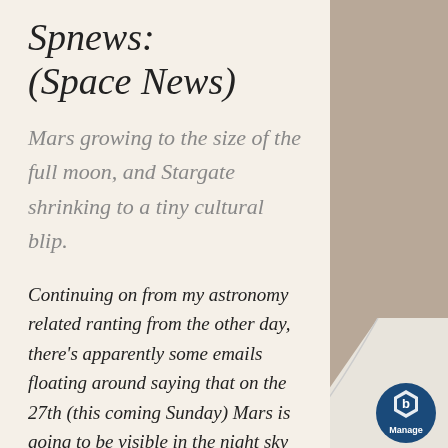Spnews: (Space News)
Mars growing to the size of the full moon, and Stargate shrinking to a tiny cultural blip.
Continuing on from my astronomy related ranting from the other day, there's apparently some emails floating around saying that on the 27th (this coming Sunday) Mars is going to be visible in the night sky at “the size of the full moon.” The fact that...